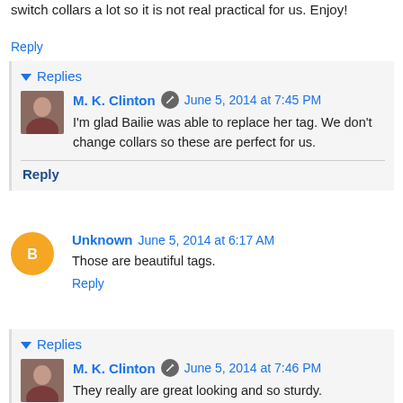switch collars a lot so it is not real practical for us. Enjoy!
Reply
Replies
M. K. Clinton  June 5, 2014 at 7:45 PM
I'm glad Bailie was able to replace her tag. We don't change collars so these are perfect for us.
Reply
Unknown  June 5, 2014 at 6:17 AM
Those are beautiful tags.
Reply
Replies
M. K. Clinton  June 5, 2014 at 7:46 PM
They really are great looking and so sturdy.